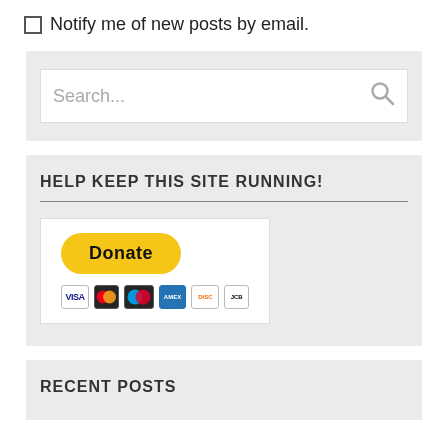Notify me of new posts by email.
[Figure (screenshot): Search widget box with text input field showing placeholder 'Search...' and a search magnifier icon]
HELP KEEP THIS SITE RUNNING!
[Figure (screenshot): PayPal Donate button with yellow rounded background and credit card icons (Visa, Mastercard, Maestro, Amex, Discover, JCB) below]
RECENT POSTS